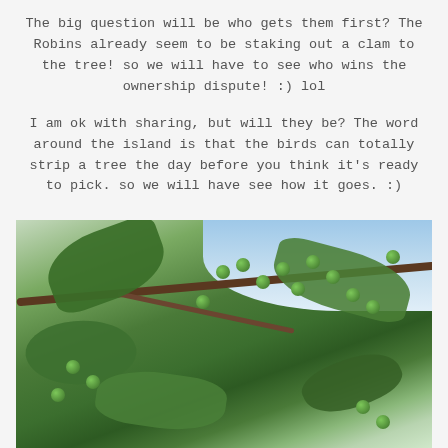The big question will be who gets them first? The Robins already seem to be staking out a clam to the tree! so we will have to see who wins the ownership dispute! :) lol
I am ok with sharing, but will they be? The word around the island is that the birds can totally strip a tree the day before you think it's ready to pick. so we will have see how it goes. :)
[Figure (photo): Close-up photograph of unripe green cherries growing on a cherry tree branch, with green leaves visible against a light blue sky background.]